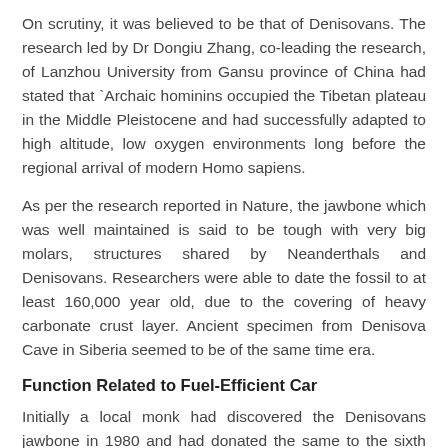On scrutiny, it was believed to be that of Denisovans. The research led by Dr Dongiu Zhang, co-leading the research, of Lanzhou University from Gansu province of China had stated that `Archaic hominins occupied the Tibetan plateau in the Middle Pleistocene and had successfully adapted to high altitude, low oxygen environments long before the regional arrival of modern Homo sapiens.
As per the research reported in Nature, the jawbone which was well maintained is said to be tough with very big molars, structures shared by Neanderthals and Denisovans. Researchers were able to date the fossil to at least 160,000 year old, due to the covering of heavy carbonate crust layer. Ancient specimen from Denisova Cave in Siberia seemed to be of the same time era.
Function Related to Fuel-Efficient Car
Initially a local monk had discovered the Denisovans jawbone in 1980 and had donated the same to the sixth Gung-Thang Living Buddha, a Buddhist Lama who had then passed it to Lanzhou University.